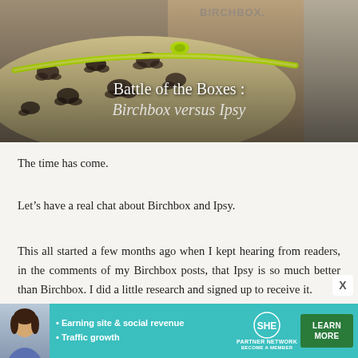[Figure (photo): Hero image showing a leopard print cosmetic bag with neon yellow zipper in front of a cardboard Birchbox box. Text overlay reads 'Battle of the Boxes : Birchbox versus Ipsy']
The time has come.
Let's have a real chat about Birchbox and Ipsy.
This all started a few months ago when I kept hearing from readers, in the comments of my Birchbox posts, that Ipsy is so much better than Birchbox. I did a little research and signed up to receive it.
[Figure (other): SHE Partner Network advertisement banner: teal background with woman photo, bullets 'Earning site & social revenue' and 'Traffic growth', SHE Media logo, and green LEARN MORE button]